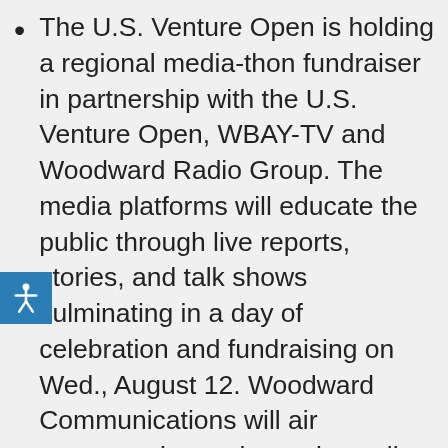The U.S. Venture Open is holding a regional media-thon fundraiser in partnership with the U.S. Venture Open, WBAY-TV and Woodward Radio Group. The media platforms will educate the public through live reports, stories, and talk shows culminating in a day of celebration and fundraising on Wed., August 12. Woodward Communications will air programming on its stations all day, live reports will be featured on WBAY-TV 2 throughout the day, and WBAY will televise a one-hour program communicating the need for regional nonprofits.